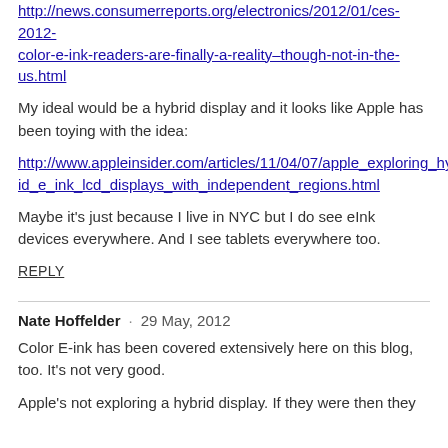http://news.consumerreports.org/electronics/2012/01/ces-2012-color-e-ink-readers-are-finally-a-reality–though-not-in-the-us.html
My ideal would be a hybrid display and it looks like Apple has been toying with the idea:
http://www.appleinsider.com/articles/11/04/07/apple_exploring_hybrid_e_ink_lcd_displays_with_independent_regions.html
Maybe it's just because I live in NYC but I do see eInk devices everywhere. And I see tablets everywhere too.
REPLY
Nate Hoffelder · 29 May, 2012
Color E-ink has been covered extensively here on this blog, too. It's not very good.
Apple's not exploring a hybrid display. If they were then they